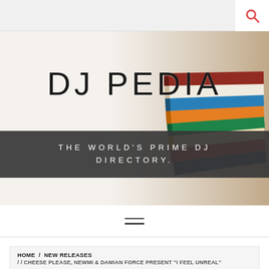DJ PEDIA – navigation bar with search icon
[Figure (illustration): Hero banner with stacked colorful books on the right side and light gradient background. Large text 'DJ PEDIA' overlaid on the left. Dark banner with tagline 'THE WORLD'S PRIME DJ DIRECTORY.']
DJ PEDIA
THE WORLD'S PRIME DJ DIRECTORY.
≡ (hamburger menu icon)
HOME / NEW RELEASES / / CHEESE PLEASE, NEWMI & DAMIAN FORCE PRESENT "I FEEL UNREAL"